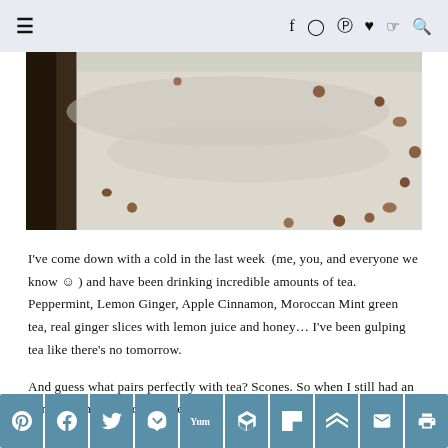≡  f  ⊙  ⊛  ♥  ≈  🔍
[Figure (photo): Close-up food photograph, likely scones on a baking tray with a white/cream colored texture and brown bits scattered throughout, dark edges of the tray visible]
I've come down with a cold in the last week (me, you, and everyone we know ☺ ) and have been drinking incredible amounts of tea. Peppermint, Lemon Ginger, Apple Cinnamon, Moroccan Mint green tea, real ginger slices with lemon juice and honey… I've been gulping tea like there's no tomorrow.
And guess what pairs perfectly with tea? Scones. So when I still had an ounce of energy to do a little baking this
Share buttons: Pinterest, Facebook, Twitter, Pocket, Yummly, Buffer, Flipboard, Mix, Email, Print